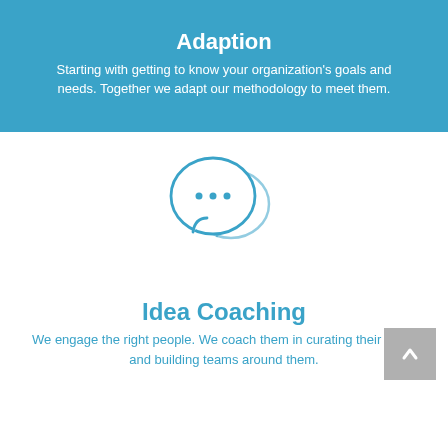Adaption
Starting with getting to know your organization's goals and needs. Together we adapt our methodology to meet them.
[Figure (illustration): Two overlapping speech/chat bubble icons in teal/blue outline style, the larger front bubble contains three dots (ellipsis)]
Idea Coaching
We engage the right people. We coach them in curating their ideas and building teams around them.